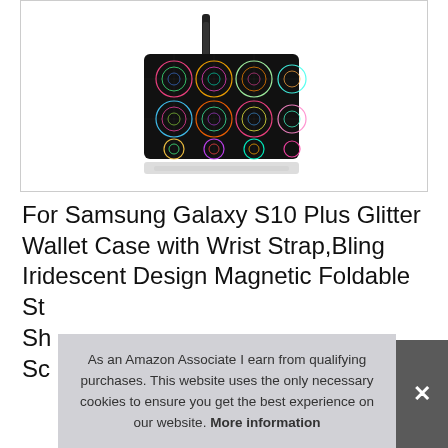[Figure (photo): Product photo of a holographic/iridescent glitter wallet case with wrist strap, showing colorful geometric circle pattern on dark background, displayed against white background with slight reflection below.]
For Samsung Galaxy S10 Plus Glitter Wallet Case with Wrist Strap,Bling Iridescent Design Magnetic Foldable St... Sh... Sc...
As an Amazon Associate I earn from qualifying purchases. This website uses the only necessary cookies to ensure you get the best experience on our website. More information